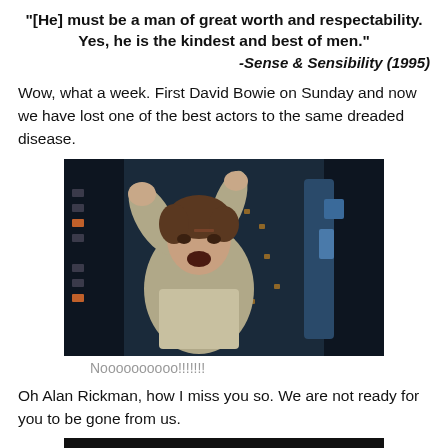“[He] must be a man of great worth and respectability. Yes, he is the kindest and best of men.”
-Sense & Sensibility (1995)
Wow, what a week. First David Bowie on Sunday and now we have lost one of the best actors to the same dreaded disease.
[Figure (photo): Movie still showing a distressed man in a white shirt grabbing onto something in a dark sci-fi corridor with blue lighting]
Noooooooooo!!!!!!!
Oh Alan Rickman, how I miss you so. We are not ready for you to be gone from us.
[Figure (photo): Partially visible dark image at the bottom of the page]